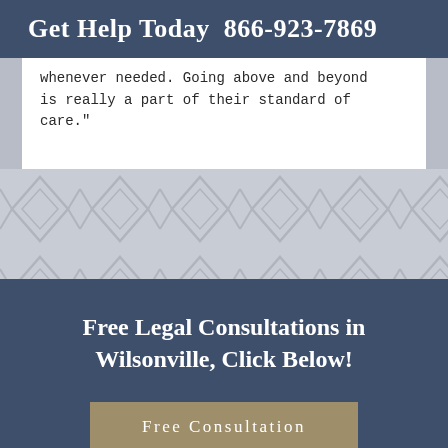Get Help Today  866-923-7869
whenever needed. Going above and beyond is really a part of their standard of care."
[Figure (other): Decorative geometric pattern background in light gray with interlocking diamond/chevron shapes]
Free Legal Consultations in Wilsonville, Click Below!
Free Consultation